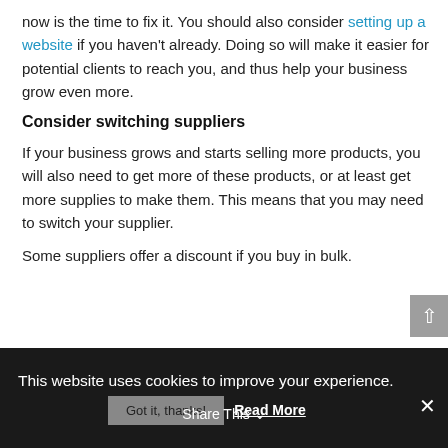now is the time to fix it. You should also consider setting up a website if you haven't already. Doing so will make it easier for potential clients to reach you, and thus help your business grow even more.
Consider switching suppliers
If your business grows and starts selling more products, you will also need to get more of these products, or at least get more supplies to make them. This means that you may need to switch your supplier.
Some suppliers offer a discount if you buy in bulk.
This website uses cookies to improve your experience. Got it, thanks! Read More Share This ✕